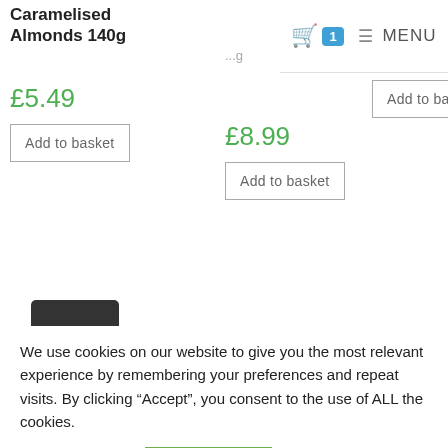Caramelised Almonds 140g
£5.49
Add to basket
...g
£8.99
Add to basket
Dates 250g
£4.99
Add to basket
Welcome to our click & collect store! *** Please Note: WE DO NOT CURRENTLY OFFER A DELIVERY SERVICE *** Our shop is a click and collect service for customers who are able to collect
We use cookies on our website to give you the most relevant experience by remembering your preferences and repeat visits. By clicking “Accept”, you consent to the use of ALL the cookies.
Cookie settings
ACCEPT